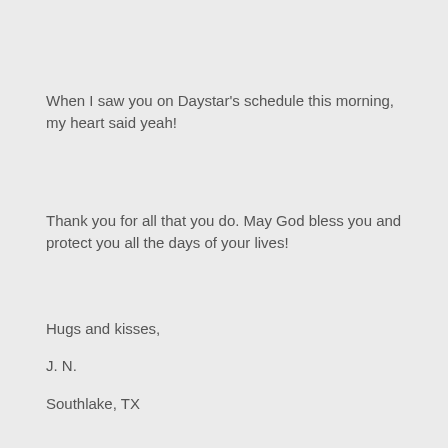When I saw you on Daystar's schedule this morning, my heart said yeah!
Thank you for all that you do. May God bless you and protect you all the days of your lives!
Hugs and kisses,
J. N.
Southlake, TX